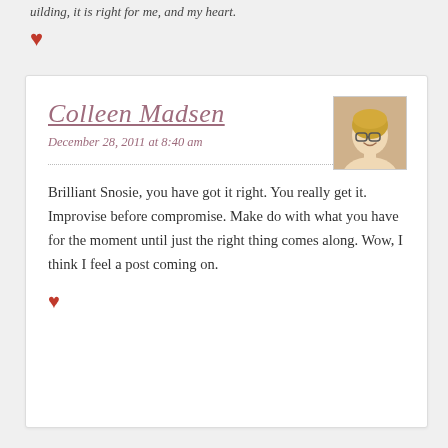...uilding, it is right for me, and my heart.
[Figure (other): Red heart icon (like button)]
Colleen Madsen
December 28, 2011 at 8:40 am
[Figure (photo): Avatar photo of Colleen Madsen, a woman with blonde hair and glasses, smiling]
Brilliant Snosie, you have got it right. You really get it. Improvise before compromise. Make do with what you have for the moment until just the right thing comes along. Wow, I think I feel a post coming on.
[Figure (other): Red heart icon (like button)]